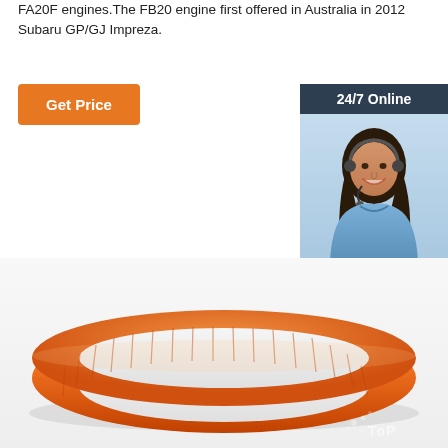FA20F engines.The FB20 engine first offered in Australia in 2012 Subaru GP/GJ Impreza.
[Figure (other): Orange 'Get Price' button]
[Figure (photo): 24/7 Online chat widget with a smiling woman wearing a headset, 'Click here for free chat!' text, and an orange QUOTATION button]
[Figure (photo): Orange engine timing belt/ring component shown in close-up from above, with a watermark 'TOP' at bottom right]